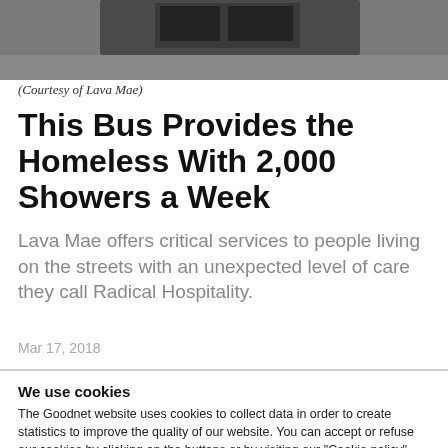[Figure (photo): Top portion of a bus or vehicle, partially visible, dark colored, photographed outdoors on a gray surface.]
(Courtesy of Lava Mae)
This Bus Provides the Homeless With 2,000 Showers a Week
Lava Mae offers critical services to people living on the streets with an unexpected level of care they call Radical Hospitality.
Mar 17, 2018
We use cookies
The Goodnet website uses cookies to collect data in order to create statistics to improve the quality of our website. You can accept or refuse our cookies by clicking on the buttons or by visiting our "Cookie policy" page. A default 'no consent' option applies in case no choice is made. If you would like to know more about our cookie policy, please click on the "Show details" link below or visit our "Cookie Policy" page.
Refuse all but necessary
Accept all
Show details